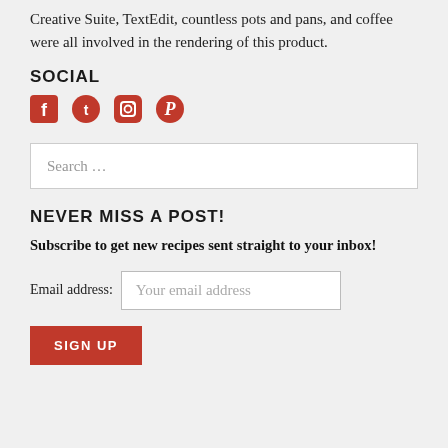Creative Suite, TextEdit, countless pots and pans, and coffee were all involved in the rendering of this product.
SOCIAL
[Figure (other): Four social media icons in red: Facebook, Twitter, Instagram, Pinterest]
Search …
NEVER MISS A POST!
Subscribe to get new recipes sent straight to your inbox!
Email address: Your email address
SIGN UP